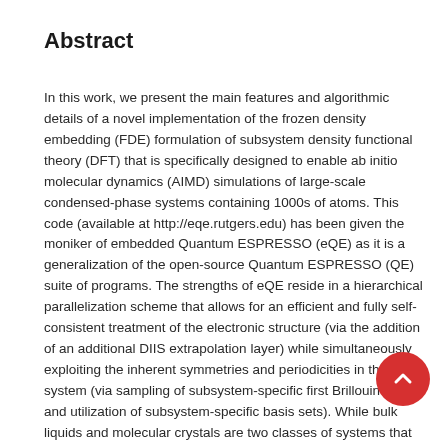Abstract
In this work, we present the main features and algorithmic details of a novel implementation of the frozen density embedding (FDE) formulation of subsystem density functional theory (DFT) that is specifically designed to enable ab initio molecular dynamics (AIMD) simulations of large-scale condensed-phase systems containing 1000s of atoms. This code (available at http://eqe.rutgers.edu) has been given the moniker of embedded Quantum ESPRESSO (eQE) as it is a generalization of the open-source Quantum ESPRESSO (QE) suite of programs. The strengths of eQE reside in a hierarchical parallelization scheme that allows for an efficient and fully self-consistent treatment of the electronic structure (via the addition of an additional DIIS extrapolation layer) while simultaneously exploiting the inherent symmetries and periodicities in the system (via sampling of subsystem-specific first Brillouin zones and utilization of subsystem-specific basis sets). While bulk liquids and molecular crystals are two classes of systems that exemplify the utility of the FDE approach (as these systems can be partitioned into weakly interacting subunits), we show that eQE has significantly extended this regime of applicability by